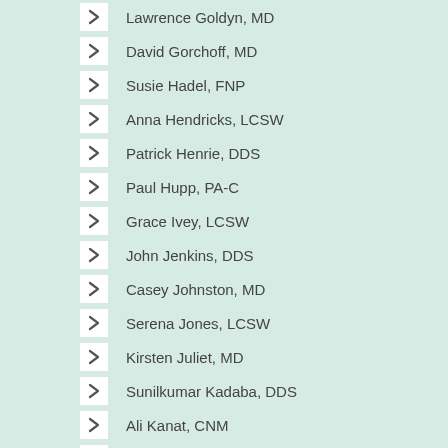Lawrence Goldyn, MD
David Gorchoff, MD
Susie Hadel, FNP
Anna Hendricks, LCSW
Patrick Henrie, DDS
Paul Hupp, PA-C
Grace Ivey, LCSW
John Jenkins, DDS
Casey Johnston, MD
Serena Jones, LCSW
Kirsten Juliet, MD
Sunilkumar Kadaba, DDS
Ali Kanat, CNM
Christina Lasich, MD